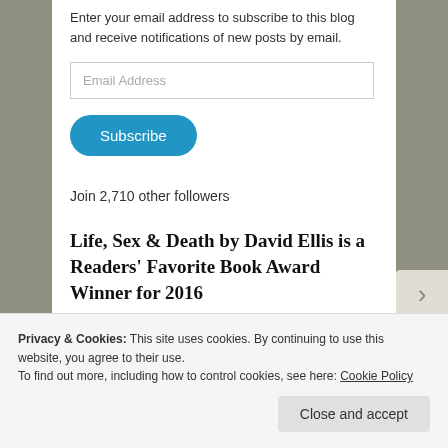Enter your email address to subscribe to this blog and receive notifications of new posts by email.
Email Address
Subscribe
Join 2,710 other followers
Life, Sex & Death by David Ellis is a Readers' Favorite Book Award Winner for 2016
Privacy & Cookies: This site uses cookies. By continuing to use this website, you agree to their use.
To find out more, including how to control cookies, see here: Cookie Policy
Close and accept